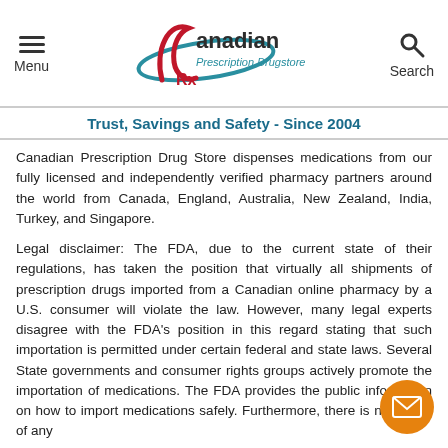Menu | Canadian Prescription Drugstore | Search
Trust, Savings and Safety - Since 2004
Canadian Prescription Drug Store dispenses medications from our fully licensed and independently verified pharmacy partners around the world from Canada, England, Australia, New Zealand, India, Turkey, and Singapore.
Legal disclaimer: The FDA, due to the current state of their regulations, has taken the position that virtually all shipments of prescription drugs imported from a Canadian online pharmacy by a U.S. consumer will violate the law. However, many legal experts disagree with the FDA's position in this regard stating that such importation is permitted under certain federal and state laws. Several State governments and consumer rights groups actively promote the importation of medications. The FDA provides the public information on how to import medications safely. Furthermore, there is no record of any